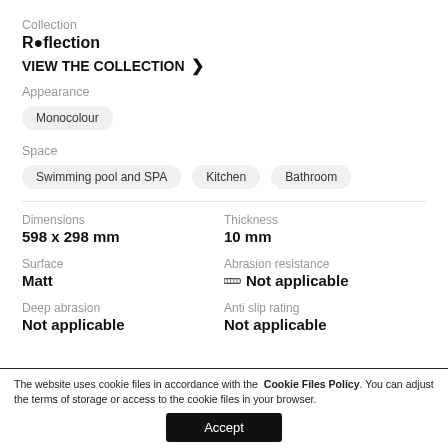Collection
Reflection
VIEW THE COLLECTION >
Appearance
Monocolour
Space
Swimming pool and SPA
Kitchen
Bathroom
| Dimensions | Thickness |
| --- | --- |
| 598 x 298 mm | 10 mm |
| Surface | Abrasion resistance |
| Matt | Not applicable |
| Deep abrasion | Anti slip rating |
| Not applicable | Not applicable |
The website uses cookie files in accordance with the Cookie Files Policy. You can adjust the terms of storage or access to the cookie files in your browser. Accept